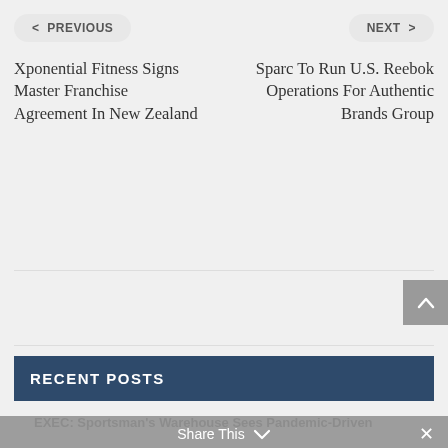< PREVIOUS
NEXT >
Xponential Fitness Signs Master Franchise Agreement In New Zealand
Sparc To Run U.S. Reebok Operations For Authentic Brands Group
RECENT POSTS
Share This
EXEC: Sportsman's Warehouse Sees Pandemic-Driven